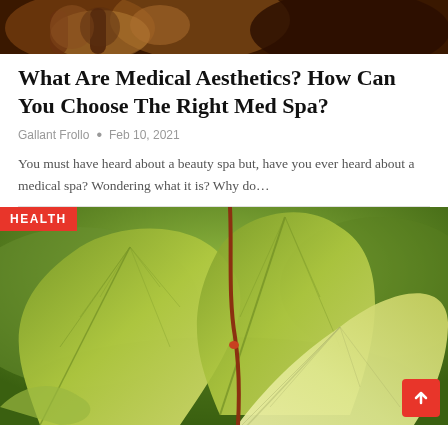[Figure (photo): Top portion of a photo showing a beauty/medical spa product — appears to be essential oil bottles with a dark amber/brown background, cropped to show only the bottom portion]
What Are Medical Aesthetics? How Can You Choose The Right Med Spa?
Gallant Frollo • Feb 10, 2021
You must have heard about a beauty spa but, have you ever heard about a medical spa? Wondering what it is? Why do…
[Figure (photo): Close-up photo of large tropical leaves (kratom/mitragyna speciosa) with detailed vein patterns visible, green with light undersides, red stem, against a blurred green background. A red HEALTH badge is overlaid in the top-left corner.]